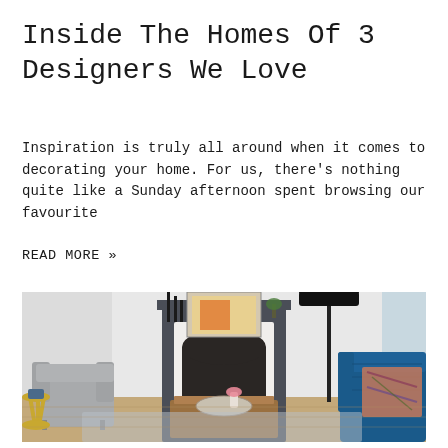Inside The Homes Of 3 Designers We Love
Inspiration is truly all around when it comes to decorating your home. For us, there’s nothing quite like a Sunday afternoon spent browsing our favourite
READ MORE »
[Figure (photo): Interior living room photo showing a dark-framed fireplace with marble surround, candlesticks and artwork on the mantel, a grey velvet armchair with gold side table on the left, a blue velvet sofa on the right with a patterned throw, a wooden coffee table in the center with a decorative tray and pink flower vase, and a black floor lamp. Light walls and wooden flooring.]